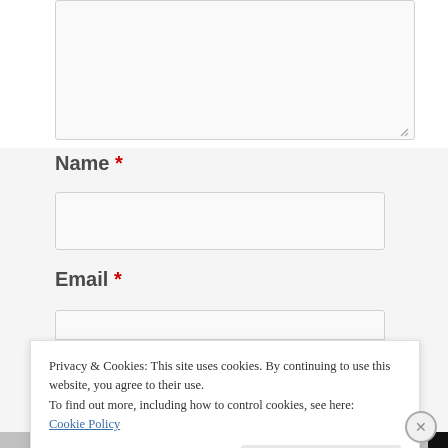[Figure (screenshot): A textarea input box with a resize handle in the bottom-right corner, partially visible at the top of the page.]
Name *
[Figure (screenshot): A text input field for the Name field.]
Email *
[Figure (screenshot): A text input field for the Email field, partially visible.]
Privacy & Cookies: This site uses cookies. By continuing to use this website, you agree to their use.
To find out more, including how to control cookies, see here:
Cookie Policy
Close and accept